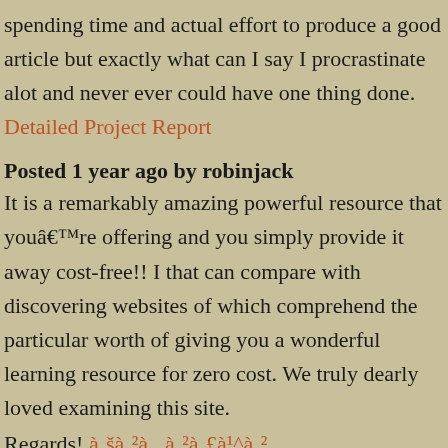spending time and actual effort to produce a good article but exactly what can I say I procrastinate alot and never ever could have one thing done. Detailed Project Report
Posted 1 year ago by robinjack
It is a remarkably amazing powerful resource that youâ€™re offering and you simply provide it away cost-free!! I that can compare with discovering websites of which comprehend the particular worth of giving you a wonderful learning resource for zero cost. We truly dearly loved examining this site.
Regards! à¸šà¸²à¸„à¸²à¸£à¹^à¸² à¸‚à¸²à¸¢à¹à¸„à¸¥à¸¢à¹à¸¥à¹Œ
Posted 1 year ago by robinjack